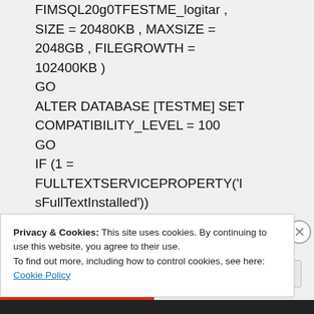FIMSQL20g0TFESTME_logitar , SIZE = 20480KB , MAXSIZE = 2048GB , FILEGROWTH = 102400KB )
GO
ALTER DATABASE [TESTME] SET COMPATIBILITY_LEVEL = 100
GO
IF (1 = FULLTEXTSERVICEPROPERTY('IsFullTextInstalled'))
Privacy & Cookies: This site uses cookies. By continuing to use this website, you agree to their use.
To find out more, including how to control cookies, see here: Cookie Policy
Close and accept